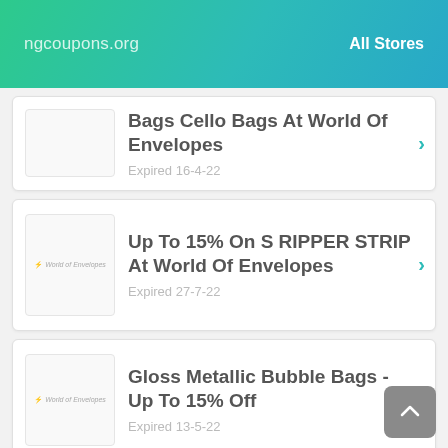ngcoupons.org    All Stores
Bags Cello Bags At World Of Envelopes — Expired 16-4-22
Up To 15% On S RIPPER STRIP At World Of Envelopes — Expired 27-7-22
Gloss Metallic Bubble Bags - Up To 15% Off — Expired 13-5-22